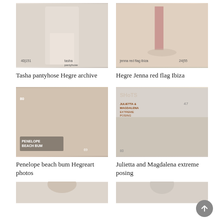[Figure (photo): Tasha pantyhose photo cover - woman in white pantyhose]
[Figure (photo): Hegre Jenna red flag Ibiza - woman on beach with red flag]
Tasha pantyhose Hegre archive
Hegre Jenna red flag Ibiza
[Figure (photo): Penelope beach bum Hegreart photos - woman on beach]
[Figure (photo): Julietta and Magdalena extreme posing - acrobatic posing]
Penelope beach bum Hegreart photos
Julietta and Magdalena extreme posing
[Figure (photo): Bottom left partially visible photo thumbnail]
[Figure (photo): Bottom right partially visible photo thumbnail]